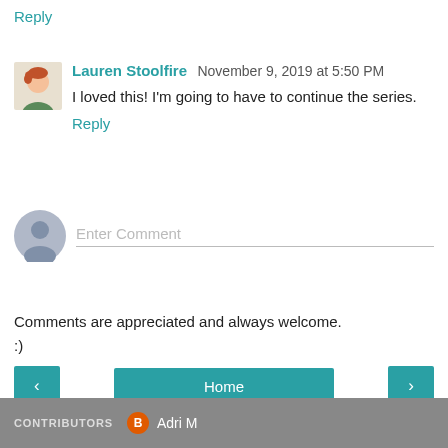Reply
Lauren Stoolfire  November 9, 2019 at 5:50 PM
I loved this! I'm going to have to continue the series.
Reply
Enter Comment
Comments are appreciated and always welcome.
:)
Home
View web version
CONTRIBUTORS
Adri M